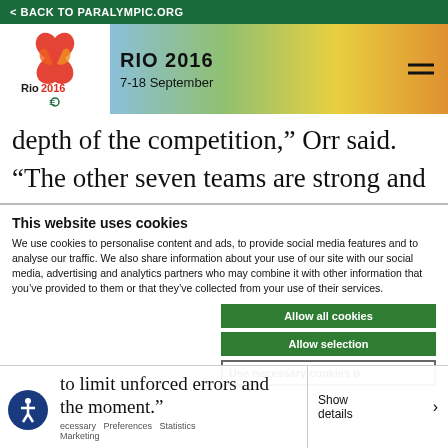< BACK TO PARALYMPIC.ORG
[Figure (logo): Rio 2016 Paralympic Games logo with RIO 2016 text and 7-18 September dates, colorful banner background]
depth of the competition,” Orr said.
“The other seven teams are strong and
This website uses cookies
We use cookies to personalise content and ads, to provide social media features and to analyse our traffic. We also share information about your use of our site with our social media, advertising and analytics partners who may combine it with other information that you’ve provided to them or that they’ve collected from your use of their services.
Allow all cookies
Allow selection
Use necessary cookies o
to limit unforced errors and the moment.”
ecessary   Preferences   Statistics
Marketing
Show details